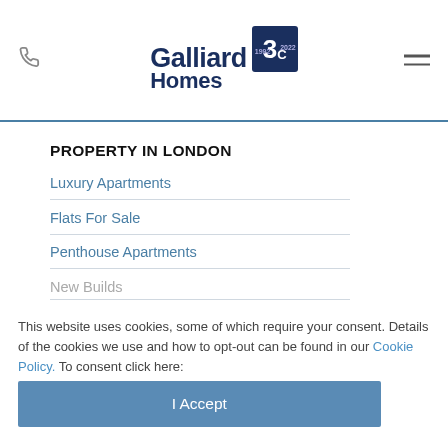Galliard Homes [logo]
PROPERTY IN LONDON
Luxury Apartments
Flats For Sale
Penthouse Apartments
New Builds
This website uses cookies, some of which require your consent. Details of the cookies we use and how to opt-out can be found in our Cookie Policy. To consent click here:
I Accept
Penthouse...